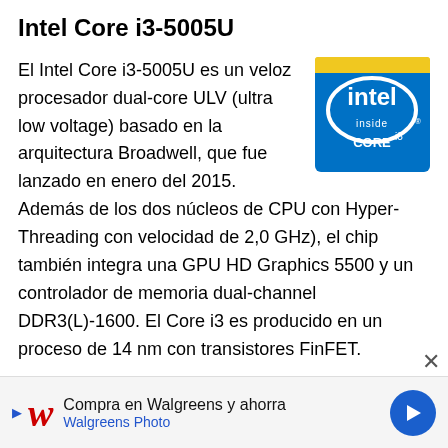Intel Core i3-5005U
[Figure (logo): Intel Inside Core i3 logo badge — blue square with golden top strip, white Intel logo in center, 'inside' text, 'CORE i3' text below]
El Intel Core i3-5005U es un veloz procesador dual-core ULV (ultra low voltage) basado en la arquitectura Broadwell, que fue lanzado en enero del 2015. Además de los dos núcleos de CPU con Hyper-Threading con velocidad de 2,0 GHz), el chip también integra una GPU HD Graphics 5500 y un controlador de memoria dual-channel DDR3(L)-1600. El Core i3 es producido en un proceso de 14 nm con transistores FinFET.
Arquitectura
Broadwell representa el "Tick" en el modelo Tick-Tock de
[Figure (infographic): Walgreens advertisement banner: triangle play arrow, Walgreens cursive W logo, 'Compra en Walgreens y ahorra' text, 'Walgreens Photo' subtext, blue circle with right arrow icon, X close button]